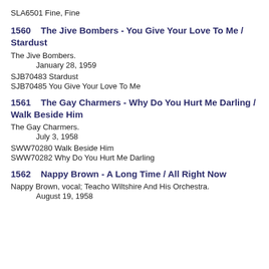SLA6501  Fine, Fine
1560    The Jive Bombers - You Give Your Love To Me / Stardust
The Jive Bombers.
January 28, 1959
SJB70483 Stardust
SJB70485 You Give Your Love To Me
1561    The Gay Charmers - Why Do You Hurt Me Darling / Walk Beside Him
The Gay Charmers.
July 3, 1958
SWW70280 Walk Beside Him
SWW70282 Why Do You Hurt Me Darling
1562    Nappy Brown - A Long Time / All Right Now
Nappy Brown, vocal; Teacho Wiltshire And His Orchestra.
August 19, 1958